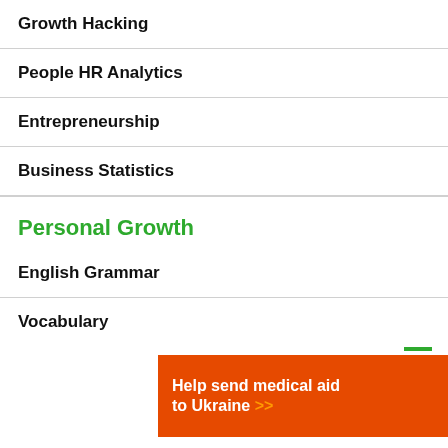Growth Hacking
People HR Analytics
Entrepreneurship
Business Statistics
Personal Growth
English Grammar
Vocabulary
[Figure (infographic): Advertisement banner: 'Help send medical aid to Ukraine >> DirectRelief' on orange background]